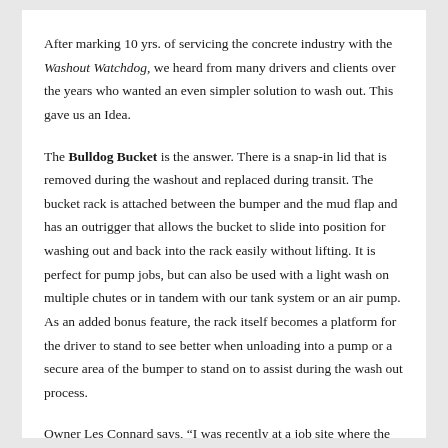After marking 10 yrs. of servicing the concrete industry with the Washout Watchdog, we heard from many drivers and clients over the years who wanted an even simpler solution to wash out. This gave us an Idea.
The Bulldog Bucket is the answer. There is a snap-in lid that is removed during the washout and replaced during transit. The bucket rack is attached between the bumper and the mud flap and has an outrigger that allows the bucket to slide into position for washing out and back into the rack easily without lifting. It is perfect for pump jobs, but can also be used with a light wash on multiple chutes or in tandem with our tank system or an air pump. As an added bonus feature, the rack itself becomes a platform for the driver to stand to see better when unloading into a pump or a secure area of the bumper to stand on to assist during the wash out process.
Owner Les Connard says, “I was recently at a job site where the